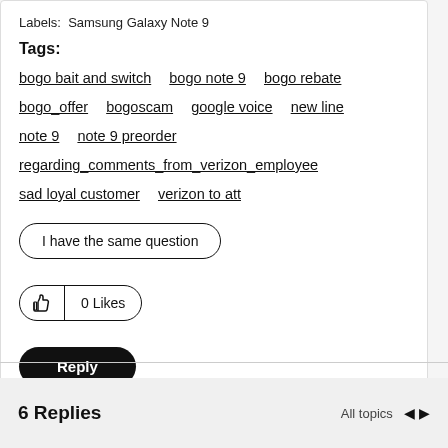Labels: Samsung Galaxy Note 9
Tags:
bogo bait and switch  bogo note 9  bogo rebate  bogo_offer  bogoscam  google voice  new line  note 9  note 9 preorder  regarding_comments_from_verizon_employee  sad loyal customer  verizon to att
I have the same question
0 Likes
Reply
6 Replies
All topics